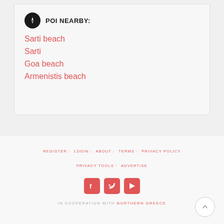POI NEARBY:
Sarti beach
Sarti
Goa beach
Armenistis beach
REGISTER  LOGIN  ABOUT  TERMS  PRIVACY POLICY  PRIVACY TOOLS  ADVERTISE
IN COOPERATION WITH NORTHERN GREECE